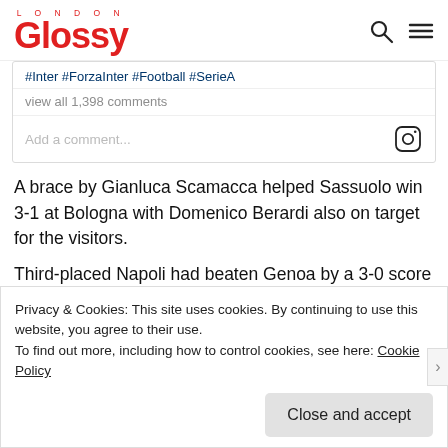Glossy London
#Inter #ForzaInter #Football #SerieA
view all 1,398 comments
Add a comment...
A brace by Gianluca Scamacca helped Sassuolo win 3-1 at Bologna with Domenico Berardi also on target for the visitors.
Third-placed Napoli had beaten Genoa by a 3-0 score earlier
Privacy & Cookies: This site uses cookies. By continuing to use this website, you agree to their use.
To find out more, including how to control cookies, see here: Cookie Policy